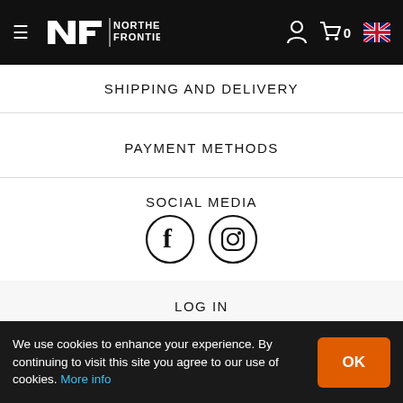Northern Frontier — navigation header with logo, hamburger menu, user icon, cart (0), and UK flag
SHIPPING AND DELIVERY
PAYMENT METHODS
SOCIAL MEDIA
[Figure (illustration): Facebook and Instagram social media icon circles]
LOG IN
[Figure (screenshot): Row of size selector buttons with orange and neutral borders]
We use cookies to enhance your experience. By continuing to visit this site you agree to our use of cookies. More info